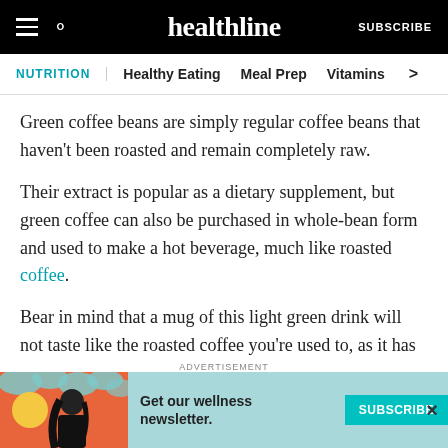healthline | SUBSCRIBE
NUTRITION | Healthy Eating  Meal Prep  Vitamins >
Green coffee beans are simply regular coffee beans that haven't been roasted and remain completely raw.
Their extract is popular as a dietary supplement, but green coffee can also be purchased in whole-bean form and used to make a hot beverage, much like roasted coffee.
Bear in mind that a mug of this light green drink will not taste like the roasted coffee you're used to, as it has a much milder flavor. It's said to taste more like herbal
[Figure (illustration): Healthline advertisement banner with teal background, illustrated woman with dark hair, 'Get our wellness newsletter.' text, and a teal SUBSCRIBE button]